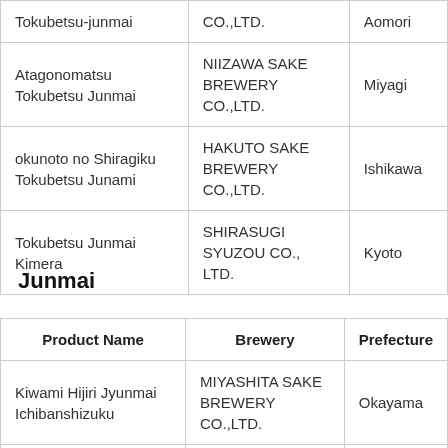| Product Name | Brewery | Prefecture |
| --- | --- | --- |
| Tokubetsu-junmai | CO.,LTD. | Aomori |
| Atagonomatsu Tokubetsu Junmai | NIIZAWA SAKE BREWERY CO.,LTD. | Miyagi |
| okunoto no Shiragiku Tokubetsu Junami | HAKUTO SAKE BREWERY CO.,LTD. | Ishikawa |
| Tokubetsu Junmai Kimera | SHIRASUGI SYUZOU CO., LTD. | Kyoto |
Junmai
| Product Name | Brewery | Prefecture |
| --- | --- | --- |
| Kiwami Hijiri Jyunmai Ichibanshizuku | MIYASHITA SAKE BREWERY CO.,LTD. | Okayama |
| Tedukuri Junmaishu Mitsu... | MITSUTAKE SYUZOJO CO.,LTD. | Saga |